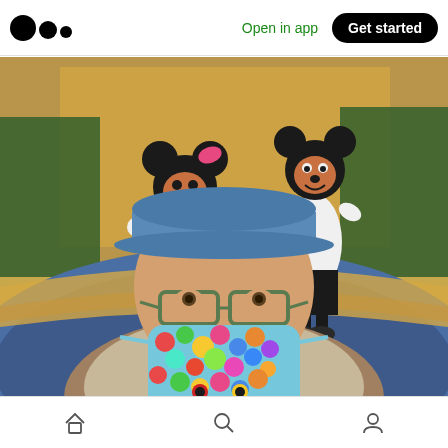Medium app header with logo, 'Open in app' link, and 'Get started' button
[Figure (photo): Selfie photo of a person wearing a blue baseball cap, glasses, and a colorful balloon-print face mask in a Disney cruise ship atrium. Behind them stand two Disney characters (Minnie Mouse in a winter outfit on the left, and Mickey Mouse in a white shirt on the right) on a blue and gold patterned carpet with Christmas decorations in the background.]
Bottom navigation bar with home, search, and profile icons